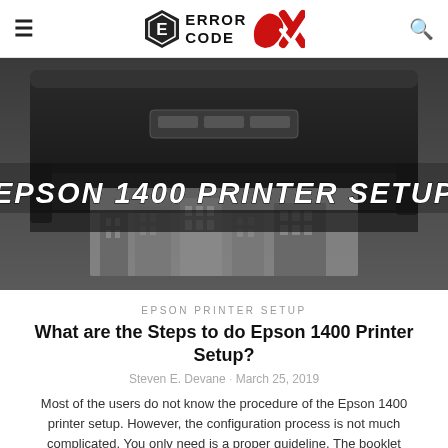≡  ERROR CODE OX  🔍
[Figure (photo): Epson 1400 printer in dark grey/black on a grey background, printing a photo of city buildings, with large white italic bold text overlay reading 'EPSON 1400 PRINTER SETUP']
EPSON PRINTER SETUP
What are the Steps to do Epson 1400 Printer Setup?
Steven E. Devane · March 25, 2019
Most of the users do not know the procedure of the Epson 1400 printer setup. However, the configuration process is not much complicated. You only need is a proper guideline. The booklet provided by the ...
0 Comment